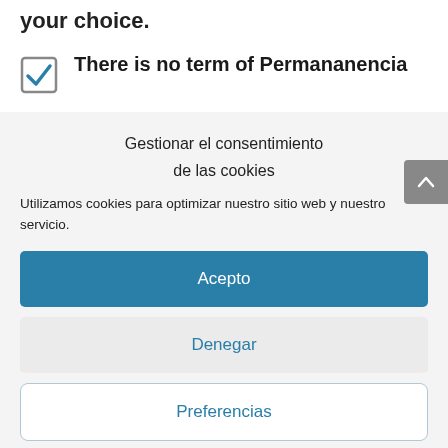your choice.
There is no term of Permananencia
Gestionar el consentimiento de las cookies
Utilizamos cookies para optimizar nuestro sitio web y nuestro servicio.
Acepto
Denegar
Preferencias